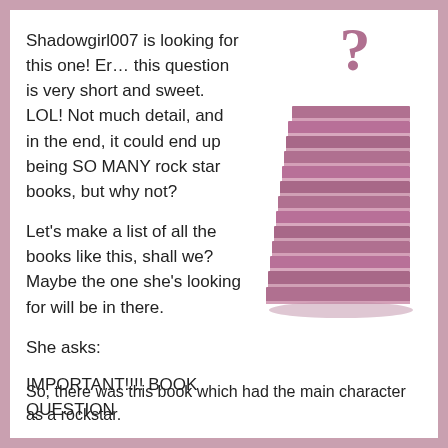Shadowgirl007 is looking for this one! Er… this question is very short and sweet. LOL! Not much detail, and in the end, it could end up being SO MANY rock star books, but why not?
Let's make a list of all the books like this, shall we? Maybe the one she's looking for will be in there.
She asks:
IMPORTANT!!!! BOOK QUESTION
[Figure (illustration): A tall stack of pink/mauve books with a pink question mark floating above them on a white background]
So, there was this book which had the main character as a rockstar.